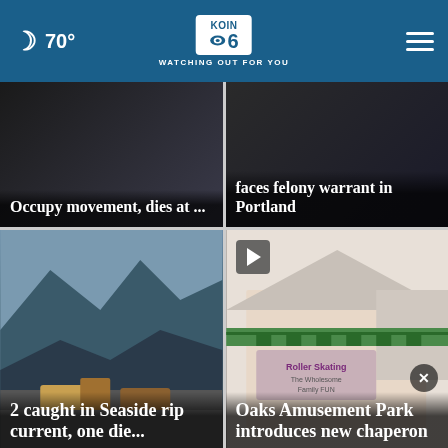🌙 70° | KOIN 6 CBS | WATCHING OUT FOR YOU
[Figure (screenshot): News card top-left: dark background with white text overlay reading 'Occupy movement, dies at ...']
Occupy movement, dies at ...
[Figure (screenshot): News card top-right: dark background with white text overlay reading 'faces felony warrant in Portland']
faces felony warrant in Portland
[Figure (photo): News card bottom-left: mountain and beach scene with vehicles, text overlay '2 caught in Seaside rip current, one die...']
2 caught in Seaside rip current, one die...
[Figure (photo): News card bottom-right: Oaks Amusement Park roller skating rink building, text overlay 'Oaks Amusement Park introduces new chaperon']
Oaks Amusement Park introduces new chaperon
Firestone Tire Offer — Virginia Tire & Auto of Ashburn — Ashburn OPEN 7:30AM–6PM